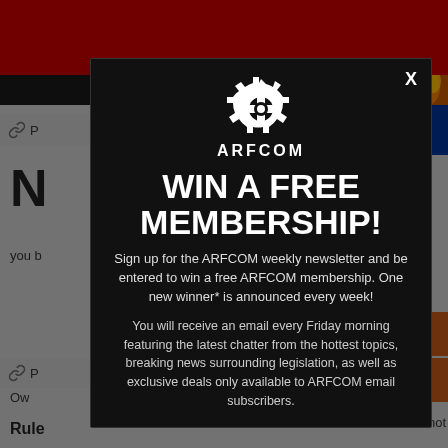[Figure (screenshot): ARFCOM website background with red header bar, dark navigation, gray content area, and partial flag image on the right side]
[Figure (infographic): ARFCOM modal popup dialog with gear logo, 'WIN A FREE MEMBERSHIP!' headline, newsletter sign-up text, and close button]